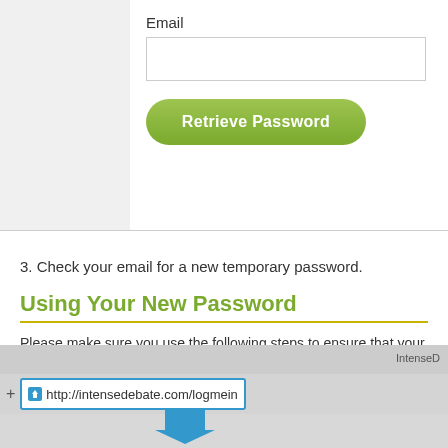[Figure (screenshot): Web form with Email label, text input box, and a green 'Retrieve Password' button]
3. Check your email for a new temporary password.
Using Your New Password
Please make sure you use the following steps to ensure that your new passw
1. If you copy and paste your new password, please make sure that you do n
2. Please make sure you login at the correct login page: http://intensedeba
[Figure (screenshot): Browser screenshot showing address bar with http://intensedebate.com/logmein and a blue arrow pointing to it, with IntenseD tab visible]